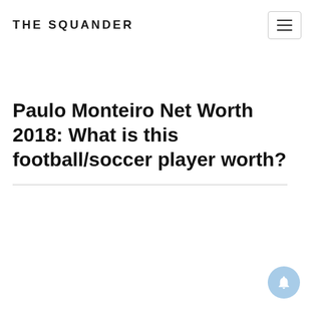THE SQUANDER
Paulo Monteiro Net Worth 2018: What is this football/soccer player worth?